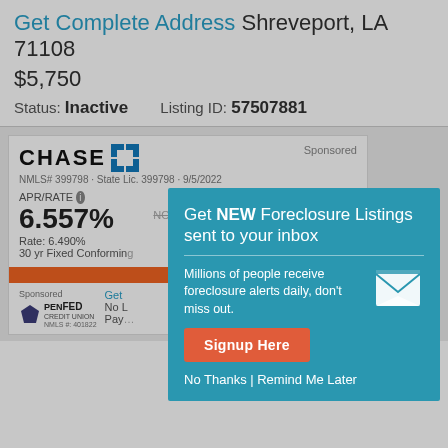Get Complete Address Shreveport, LA 71108
$5,750
Status: Inactive    Listing ID: 57507881
[Figure (screenshot): Chase sponsored mortgage advertisement showing APR/RATE of 6.557%, Rate: 6.490%, 30 yr Fixed Conforming, with NMLS# 399798, State Lic. 399798, 9/5/2022]
[Figure (infographic): Modal dialog box with teal background saying 'Get NEW Foreclosure Listings sent to your inbox'. Includes text 'Millions of people receive foreclosure alerts daily, don't miss out.' with a mail icon, a red 'Signup Here' button, and 'No Thanks | Remind Me Later' links.]